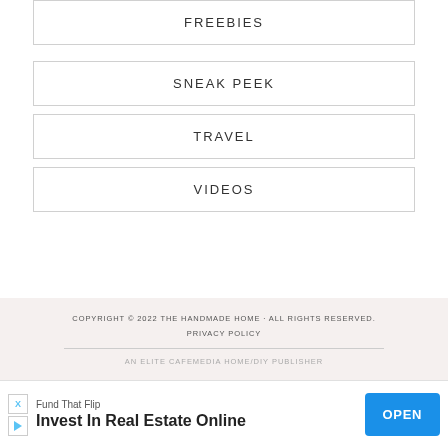FREEBIES
SNEAK PEEK
TRAVEL
VIDEOS
COPYRIGHT © 2022 THE HANDMADE HOME · ALL RIGHTS RESERVED.
PRIVACY POLICY
AN ELITE CAFEMEDIA HOME/DIY PUBLISHER
[Figure (other): Advertisement banner: Fund That Flip - Invest In Real Estate Online - OPEN button]